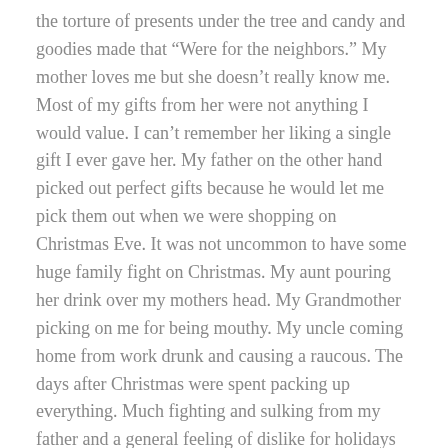the torture of presents under the tree and candy and goodies made that “Were for the neighbors.” My mother loves me but she doesn’t really know me. Most of my gifts from her were not anything I would value. I can’t remember her liking a single gift I ever gave her. My father on the other hand picked out perfect gifts because he would let me pick them out when we were shopping on Christmas Eve. It was not uncommon to have some huge family fight on Christmas. My aunt pouring her drink over my mothers head. My Grandmother picking on me for being mouthy. My uncle coming home from work drunk and causing a raucous. The days after Christmas were spent packing up everything. Much fighting and sulking from my father and a general feeling of dislike for holidays soon arose.
The first Christmas I spent with my husbands family I was amazed at how happy it was. Everyone cooking and cleaning up together. Fun traditions such as building gingerbread houses and playing board games. It was truly